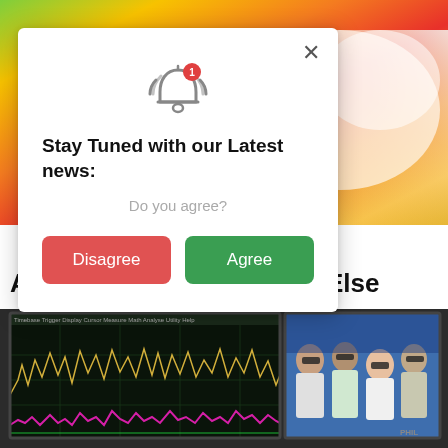[Figure (photo): Colorful macro photo background, top portion with orange, yellow, green, red tones]
[Figure (screenshot): Browser notification popup modal: bell icon with red badge '1', title 'Stay Tuned with our Latest news:', subtitle 'Do you agree?', with Disagree (red) and Agree (green) buttons, close X button top right]
Ocean, And It's A Place Unlike Anywhere Else
[Figure (photo): Photo of a computer monitor showing audio waveform analysis software with colorful waveforms, and a second monitor showing a group of people wearing 3D glasses]